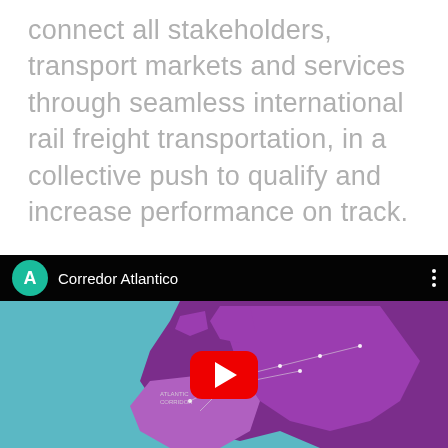connect all stakeholders, transport markets and services through seamless international rail freight transportation, in a collective push to qualify and increase performance on track.
[Figure (screenshot): A YouTube video thumbnail showing 'Corredor Atlantico' with a teal channel icon with letter A, a map of Western Europe highlighted in purple showing rail freight corridors, with a red YouTube play button overlay.]